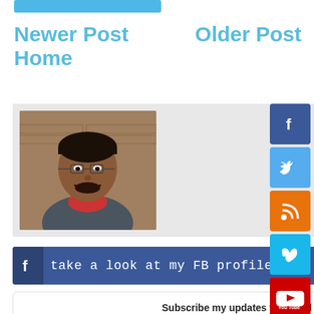[Figure (other): Blue button bar at top]
Newer Post
Older Post
Home
[Figure (photo): Profile photo of Srinivas Tamada, a man with dark hair and glasses wearing a grey shirt]
SRINIVAS TAMADA
Entrepreneur, Blogger, Thinker & UI Architect
srinivas [at] 9lessons.info
I love the WEB - Indian
Invented Wall Script
Lives in Atlanta - USA
[Figure (other): Facebook profile banner: take a look at my FB profile.]
Subscribe my updates via Email
Enter your email
Subscribe
[Figure (other): Facebook social icon button]
[Figure (other): Twitter social icon button]
[Figure (other): RSS social icon button]
[Figure (other): Vimeo social icon button]
[Figure (other): YouTube social icon button]